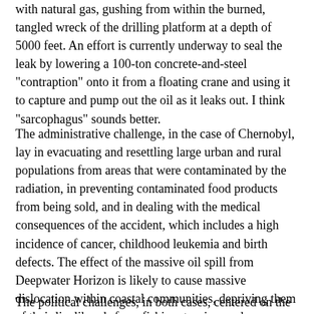with natural gas, gushing from within the burned, tangled wreck of the drilling platform at a depth of 5000 feet. An effort is currently underway to seal the leak by lowering a 100-ton concrete-and-steel "contraption" onto it from a floating crane and using it to capture and pump out the oil as it leaks out. I think "sarcophagus" sounds better.
The administrative challenge, in the case of Chernobyl, lay in evacuating and resettling large urban and rural populations from areas that were contaminated by the radiation, in preventing contaminated food products from being sold, and in dealing with the medical consequences of the accident, which includes a high incidence of cancer, childhood leukemia and birth defects. The effect of the massive oil spill from Deepwater Horizon is likely to cause massive dislocation within coastal communities, depriving them of their livelihoods from fishing, tourism and recreation. Unless the official efforts to aid this population are uncharacteristically prompt and thorough, their problems will bleed into and poison politics.
The political challenges, in both cases, centered on the inability of the political establishment to acquiesce to the fact